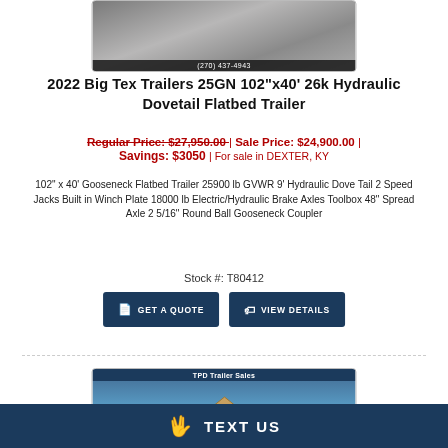[Figure (photo): Top portion of a flatbed trailer product listing image with phone number (270) 437-4943 overlaid at the bottom]
2022 Big Tex Trailers 25GN 102"x40' 26k Hydraulic Dovetail Flatbed Trailer
Regular Price: $27,950.00 | Sale Price: $24,900.00 | Savings: $3050 | For sale in DEXTER, KY
102" x 40' Gooseneck Flatbed Trailer 25900 lb GVWR 9' Hydraulic Dove Tail 2 Speed Jacks Built in Winch Plate 18000 lb Electric/Hydraulic Brake Axles Toolbox 48" Spread Axle 2 5/16" Round Ball Gooseneck Coupler
Stock #: T80412
GET A QUOTE
VIEW DETAILS
[Figure (photo): TPD Trailer Sales building exterior photo showing roof with TPD signage against blue sky]
TEXT US